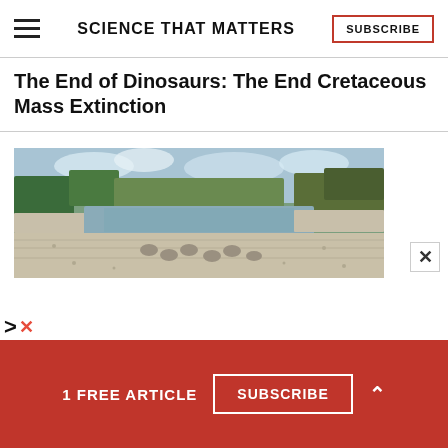SCIENCE THAT MATTERS | SUBSCRIBE
The End of Dinosaurs: The End Cretaceous Mass Extinction
[Figure (photo): A panoramic photo of a dry riverbed with dinosaur footprints in limestone rock, flanked by green trees and scrubby vegetation under a partly cloudy sky.]
1 FREE ARTICLE  SUBSCRIBE  ^